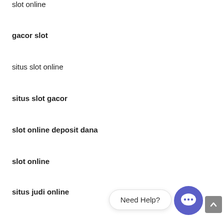slot online
gacor slot
situs slot online
situs slot gacor
slot online deposit dana
slot online
situs judi online
slot online
[Figure (other): Need Help? chat bubble widget with purple chat icon button and grey scroll-to-top button in bottom right corner]